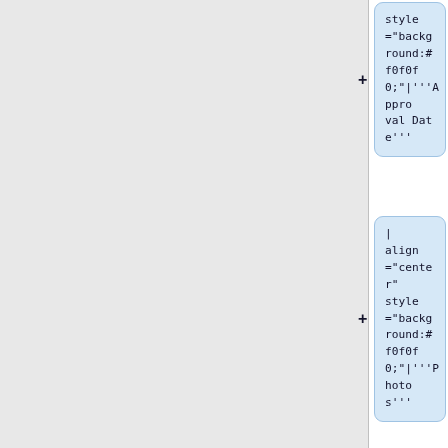[Figure (screenshot): Wiki markup diff/tree view showing code blocks with wiki table syntax. Left panel is light gray. Right panel shows five blue code blocks with plus signs, containing wiki table markup fragments: 'style="background:#f0f0f0;"|'''Approval Date'''', '| align="center" style="background:#f0f0f0;"|'''Photos'''', '|-', '|', and '| [http://horizonsignal.com/ Horizon Signal]'.]
style="background:#f0f0f0;"|'''Approval Date'''
| align="center" style="background:#f0f0f0;"|'''Photos'''
|-
|
| [http://horizonsignal.com/ Horizon Signal]